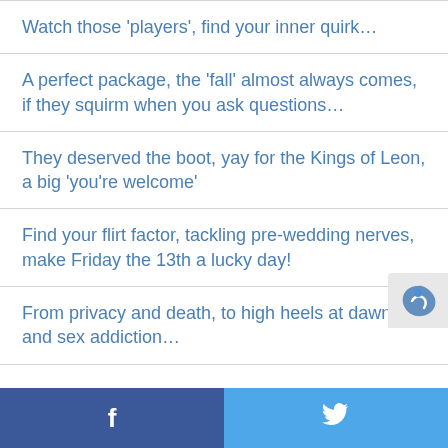Watch those 'players', find your inner quirk…
A perfect package, the 'fall' almost always comes, if they squirm when you ask questions…
They deserved the boot, yay for the Kings of Leon, a big 'you're welcome'
Find your flirt factor, tackling pre-wedding nerves, make Friday the 13th a lucky day!
From privacy and death, to high heels at dawn, and sex addiction…
f   🐦